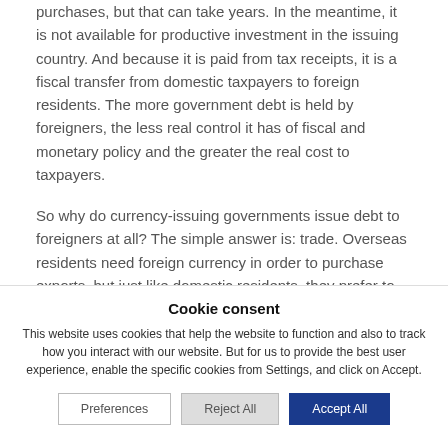purchases, but that can take years. In the meantime, it is not available for productive investment in the issuing country. And because it is paid from tax receipts, it is a fiscal transfer from domestic taxpayers to foreign residents. The more government debt is held by foreigners, the less real control it has of fiscal and monetary policy and the greater the real cost to taxpayers.
So why do currency-issuing governments issue debt to foreigners at all? The simple answer is: trade. Overseas residents need foreign currency in order to purchase exports, but just like domestic residents, they prefer to hold their
Cookie consent
This website uses cookies that help the website to function and also to track how you interact with our website. But for us to provide the best user experience, enable the specific cookies from Settings, and click on Accept.